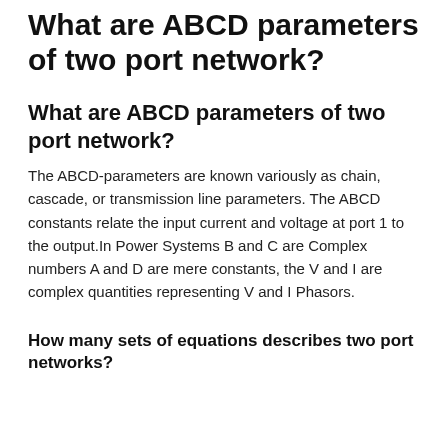What are ABCD parameters of two port network?
What are ABCD parameters of two port network?
The ABCD-parameters are known variously as chain, cascade, or transmission line parameters. The ABCD constants relate the input current and voltage at port 1 to the output.In Power Systems B and C are Complex numbers A and D are mere constants, the V and I are complex quantities representing V and I Phasors.
How many sets of equations describes two port networks?